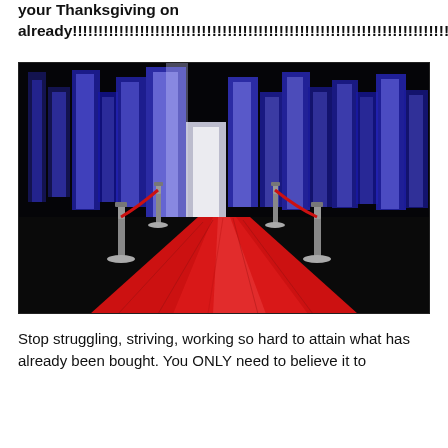your Thanksgiving on already!!!!!!!!!!!!!!!!!!!!!!!!!!!!!!!!!!!!!!!!!!!!!!!!!!!!!!!!!!!!!!!!!!!!!!!!!!!!
[Figure (photo): A red carpet event scene with velvet rope stanchions on either side of a long red carpet, illuminated by a dramatic blue and white glowing backdrop resembling a city skyline, against a dark background.]
Stop struggling, striving, working so hard to attain what has already been bought. You ONLY need to believe it to